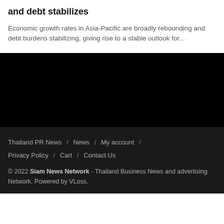and debt stabilizes
Economic growth rates in Asia-Pacific are broadly rebounding and debt burdens stabilizing, giving rise to a stable outlook for...
[Figure (other): Black rectangular band filling the width of the page, appearing as a dark image or advertisement placeholder]
Thailand PR News / News / My account / Privacy Policy / Cart / Contact Us
© 2022 Siam News Network - Thailand Business News and advertising Network. Powered by VLoss.